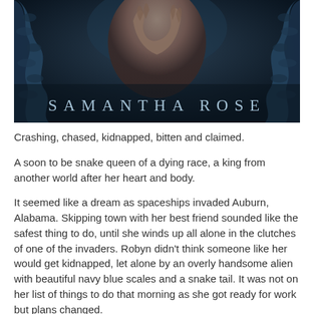[Figure (illustration): Book cover image showing hands with snake/serpent imagery in dark blue tones, with author name SAMANTHA ROSE displayed at the bottom in spaced serif lettering]
Crashing, chased, kidnapped, bitten and claimed.
A soon to be snake queen of a dying race, a king from another world after her heart and body.
It seemed like a dream as spaceships invaded Auburn, Alabama. Skipping town with her best friend sounded like the safest thing to do, until she winds up all alone in the clutches of one of the invaders. Robyn didn't think someone like her would get kidnapped, let alone by an overly handsome alien with beautiful navy blue scales and a snake tail. It was not on her list of things to do that morning as she got ready for work but plans changed.